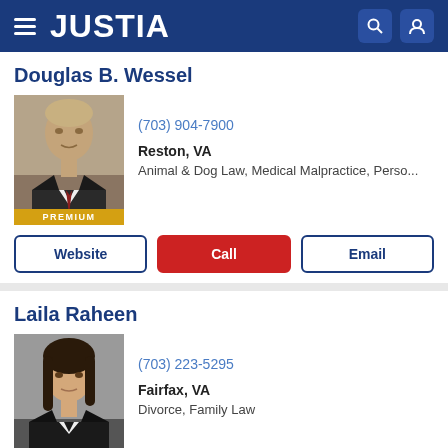JUSTIA
Douglas B. Wessel
[Figure (photo): Professional headshot of Douglas B. Wessel, a middle-aged man in a suit with a tie, with PREMIUM badge at bottom]
(703) 904-7900
Reston, VA
Animal & Dog Law, Medical Malpractice, Perso...
Website
Call
Email
Laila Raheen
[Figure (photo): Professional headshot of Laila Raheen, a young woman with long dark hair in a black blazer, with PREMIUM badge at bottom]
(703) 223-5295
Fairfax, VA
Divorce, Family Law
Website
Call
Email